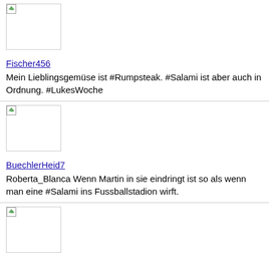[Figure (photo): User avatar image placeholder (broken image icon)]
Fischer456
Mein Lieblingsgemüse ist #Rumpsteak. #Salami ist aber auch in Ordnung. #LukesWoche
[Figure (photo): User avatar image placeholder (broken image icon)]
BuechlerHeid7
Roberta_Blanca Wenn Martin in sie eindringt ist so als wenn man eine #Salami ins Fussballstadion wirft.
[Figure (photo): User avatar image placeholder (broken image icon)]